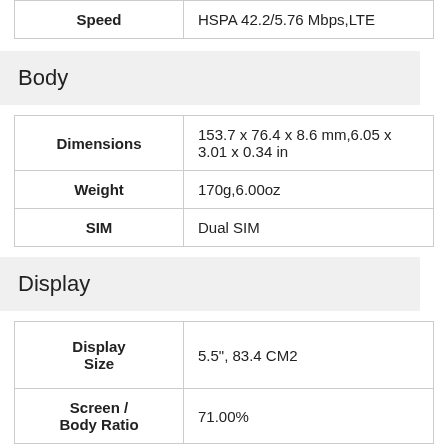|  |  |
| --- | --- |
| Speed | HSPA 42.2/5.76 Mbps,LTE |
Body
|  |  |
| --- | --- |
| Dimensions | 153.7 x 76.4 x 8.6 mm,6.05 x 3.01 x 0.34 in |
| Weight | 170g,6.00oz |
| SIM | Dual SIM |
Display
|  |  |
| --- | --- |
| Display Size | 5.5", 83.4 CM2 |
| Screen / Body Ratio | 71.00% |